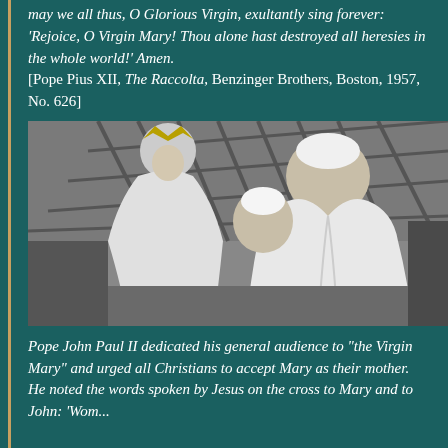may we all thus, O Glorious Virgin, exultantly sing forever: 'Rejoice, O Virgin Mary! Thou alone hast destroyed all heresies in the whole world!' Amen. [Pope Pius XII, The Raccolta, Benzinger Brothers, Boston, 1957, No. 626]
[Figure (photo): Black and white photograph of Pope John Paul II bowing his head toward a statue of the Virgin Mary. The Pope is wearing white vestments and a white zucchetto. The statue appears to be a crowned figure of Our Lady of Fatima dressed in white robes. The background shows a latticed window or screen.]
Pope John Paul II dedicated his general audience to "the Virgin Mary" and urged all Christians to accept Mary as their mother. He noted the words spoken by Jesus on the cross to Mary and to John: 'Wom...